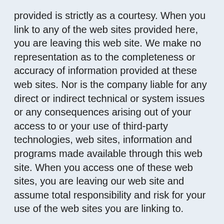provided is strictly as a courtesy. When you link to any of the web sites provided here, you are leaving this web site. We make no representation as to the completeness or accuracy of information provided at these web sites. Nor is the company liable for any direct or indirect technical or system issues or any consequences arising out of your access to or your use of third-party technologies, web sites, information and programs made available through this web site. When you access one of these web sites, you are leaving our web site and assume total responsibility and risk for your use of the web sites you are linking to.
SagePoint Financial, Inc. - PLEASE NOTE: The information being provided is strictly as a courtesy. When you link to any of the web sites provided here, you are leaving this web site. We make no representation as to the completeness or accuracy of information provided at these web sites. Nor is the company liable for any direct or indirect technical or system issues or any consequences